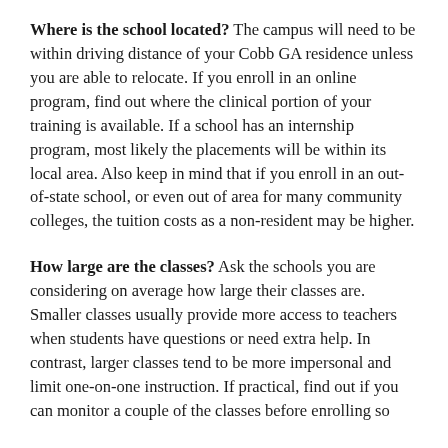Where is the school located? The campus will need to be within driving distance of your Cobb GA residence unless you are able to relocate. If you enroll in an online program, find out where the clinical portion of your training is available. If a school has an internship program, most likely the placements will be within its local area. Also keep in mind that if you enroll in an out-of-state school, or even out of area for many community colleges, the tuition costs as a non-resident may be higher.
How large are the classes? Ask the schools you are considering on average how large their classes are. Smaller classes usually provide more access to teachers when students have questions or need extra help. In contrast, larger classes tend to be more impersonal and limit one-on-one instruction. If practical, find out if you can monitor a couple of the classes before enrolling so